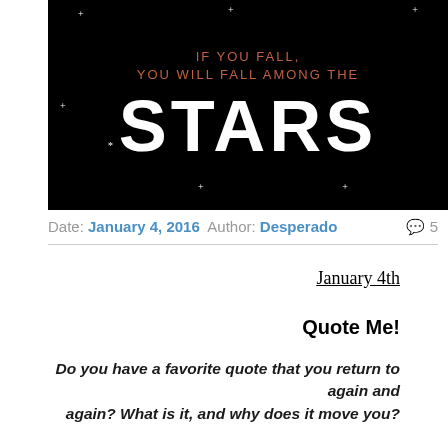[Figure (illustration): Black banner image with decorative text. Small text in terracotta/rust color reads 'IF YOU FALL, YOU WILL FALL AMONG THE' followed by large white bold decorative font text 'STARS' with small star/plus symbols scattered around on the black background.]
Date: January 4, 2016  Author: Desperado  💬 5
January 4th
Quote Me!
Do you have a favorite quote that you return to again and again? What is it, and why does it move you?